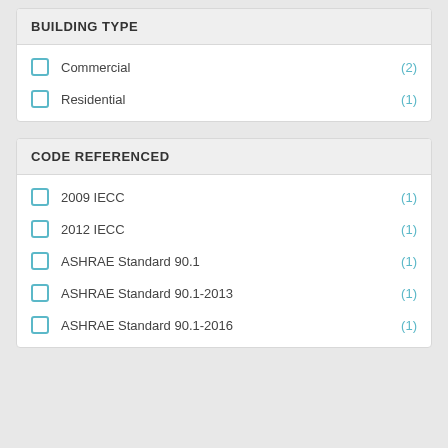BUILDING TYPE
Commercial (2)
Residential (1)
CODE REFERENCED
2009 IECC (1)
2012 IECC (1)
ASHRAE Standard 90.1 (1)
ASHRAE Standard 90.1-2013 (1)
ASHRAE Standard 90.1-2016 (1)